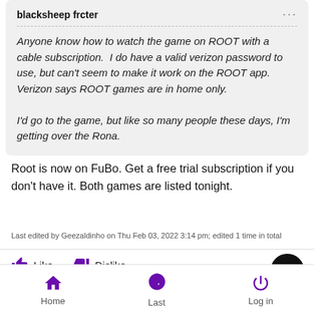blacksheep frcter
Anyone know how to watch the game on ROOT with a cable subscription. I do have a valid verizon password to use, but can't seem to make it work on the ROOT app. Verizon says ROOT games are in home only.

I'd go to the game, but like so many people these days, I'm getting over the Rona.
Root is now on FuBo. Get a free trial subscription if you don't have it. Both games are listed tonight.
Last edited by Geezaldinho on Thu Feb 03, 2022 3:14 pm; edited 1 time in total
Like   Dislike
Home   Last   Log in